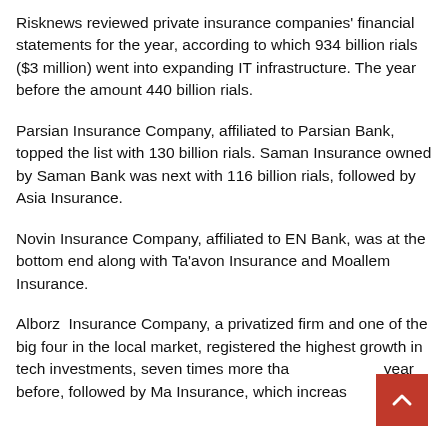Risknews reviewed private insurance companies' financial statements for the year, according to which 934 billion rials ($3 million) went into expanding IT infrastructure. The year before the amount 440 billion rials.
Parsian Insurance Company, affiliated to Parsian Bank, topped the list with 130 billion rials. Saman Insurance owned by Saman Bank was next with 116 billion rials, followed by Asia Insurance.
Novin Insurance Company, affiliated to EN Bank, was at the bottom end along with Ta'avon Insurance and Moallem Insurance.
Alborz  Insurance Company, a privatized firm and one of the big four in the local market, registered the highest growth in tech investments, seven times more than the year before, followed by Ma Insurance, which increased...